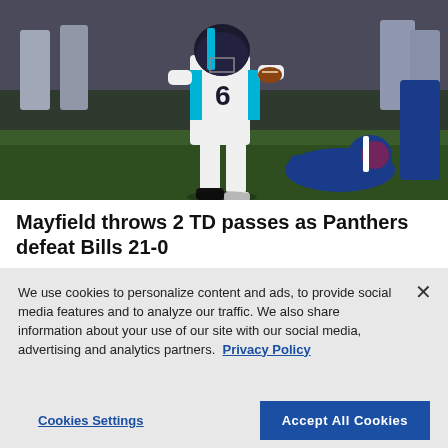[Figure (photo): A Carolina Panthers quarterback wearing jersey number 6 scrambles with the football while a Buffalo Bills defensive player attempts a tackle on a green grass field. Other players visible in the background.]
Mayfield throws 2 TD passes as Panthers defeat Bills 21-0
We use cookies to personalize content and ads, to provide social media features and to analyze our traffic. We also share information about your use of our site with our social media, advertising and analytics partners. Privacy Policy